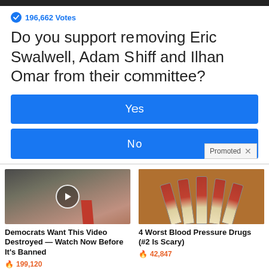196,662 Votes
Do you support removing Eric Swalwell, Adam Shiff and Ilhan Omar from their committee?
[Figure (other): Blue button labeled Yes]
[Figure (other): Blue button labeled No with Promoted badge]
[Figure (photo): Photo of two people with video play button overlay - Democrats Want This Video Destroyed ad]
Democrats Want This Video Destroyed — Watch Now Before It's Banned
199,120
[Figure (photo): Photo of prescription pill bottles - 4 Worst Blood Pressure Drugs ad]
4 Worst Blood Pressure Drugs (#2 Is Scary)
42,847